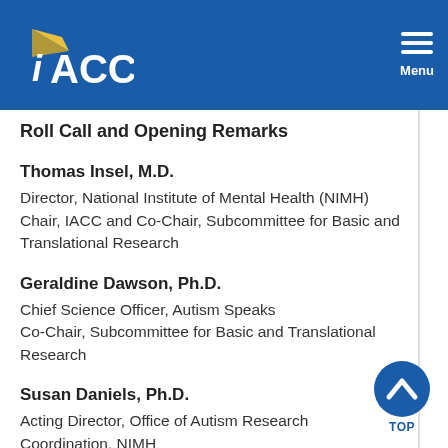IACC — Menu
Roll Call and Opening Remarks
Thomas Insel, M.D.
Director, National Institute of Mental Health (NIMH)
Chair, IACC and Co-Chair, Subcommittee for Basic and Translational Research
Geraldine Dawson, Ph.D.
Chief Science Officer, Autism Speaks
Co-Chair, Subcommittee for Basic and Translational Research
Susan Daniels, Ph.D.
Acting Director, Office of Autism Research Coordination, NIMH